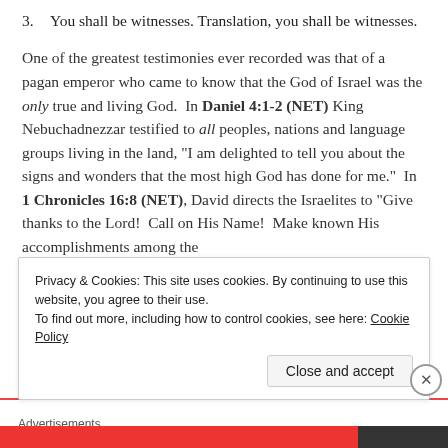You shall be witnesses. Translation, you shall be witnesses.
One of the greatest testimonies ever recorded was that of a pagan emperor who came to know that the God of Israel was the only true and living God.  In Daniel 4:1-2 (NET) King Nebuchadnezzar testified to all peoples, nations and language groups living in the land, “I am delighted to tell you about the signs and wonders that the most high God has done for me.”  In 1 Chronicles 16:8 (NET), David directs the Israelites to “Give thanks to the Lord!  Call on His Name!  Make known His accomplishments among the
Privacy & Cookies: This site uses cookies. By continuing to use this website, you agree to their use.
To find out more, including how to control cookies, see here: Cookie Policy
Close and accept
Advertisements